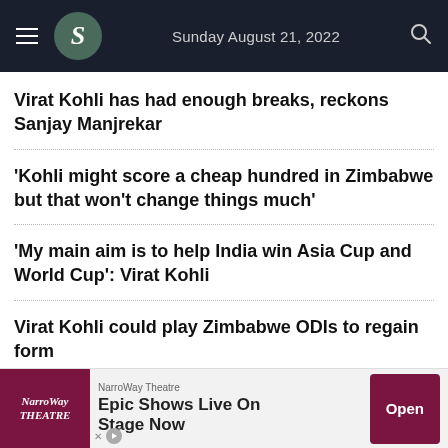Sunday August 21, 2022
Virat Kohli has had enough breaks, reckons Sanjay Manjrekar
'Kohli might score a cheap hundred in Zimbabwe but that won't change things much'
'My main aim is to help India win Asia Cup and World Cup': Virat Kohli
Virat Kohli could play Zimbabwe ODIs to regain form
[Figure (other): Advertisement banner for NarroWay Theatre showing 'Epic Shows Live On Stage Now' with an Open button]